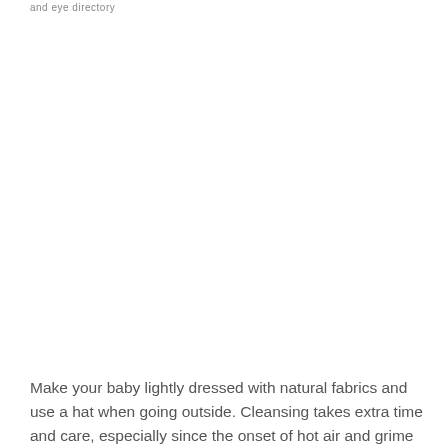and eye directory
Make your baby lightly dressed with natural fabrics and use a hat when going outside. Cleansing takes extra time and care, especially since the onset of hot air and grime